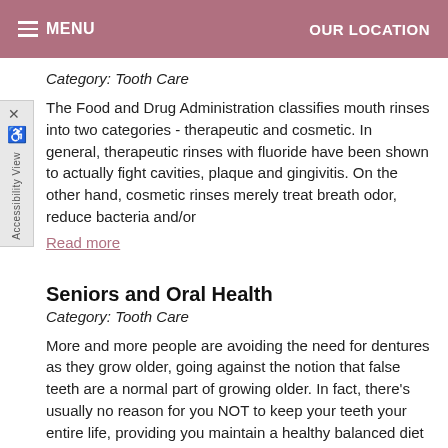MENU   OUR LOCATION
Category: Tooth Care
The Food and Drug Administration classifies mouth rinses into two categories - therapeutic and cosmetic. In general, therapeutic rinses with fluoride have been shown to actually fight cavities, plaque and gingivitis. On the other hand, cosmetic rinses merely treat breath odor, reduce bacteria and/or
Read more
Seniors and Oral Health
Category: Tooth Care
More and more people are avoiding the need for dentures as they grow older, going against the notion that false teeth are a normal part of growing older. In fact, there's usually no reason for you NOT to keep your teeth your entire life, providing you maintain a healthy balanced diet and practice